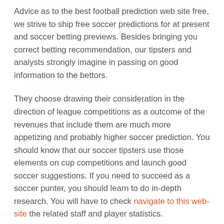Advice as to the best football prediction web site free, we strive to ship free soccer predictions for at present and soccer betting previews. Besides bringing you correct betting recommendation, our tipsters and analysts strongly imagine in passing on good information to the bettors.
They choose drawing their consideration in the direction of league competitions as a outcome of the revenues that include them are much more appetizing and probably higher soccer prediction. You should know that our soccer tipsters use those elements on cup competitions and launch good soccer suggestions. If you need to succeed as a soccer punter, you should learn to do in-depth research. You will have to check navigate to this web-site the related staff and player statistics.